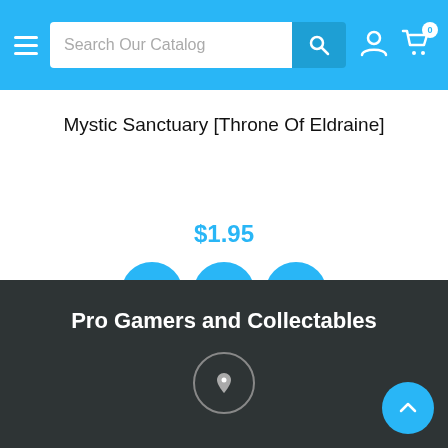Search Our Catalog — navigation bar with hamburger, search, user and cart icons
Mystic Sanctuary [Throne Of Eldraine]
$1.95
[Figure (screenshot): Three blue circular action buttons: eye/view, heart/wishlist, cart/add-to-cart]
[Figure (screenshot): Two circular navigation buttons with left and right chevrons]
Pro Gamers and Collectables